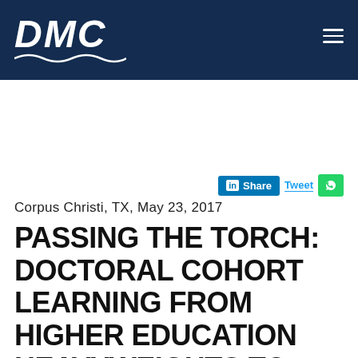DMC
Corpus Christi, TX, May 23, 2017
PASSING THE TORCH: DOCTORAL COHORT LEARNING FROM HIGHER EDUCATION HEAVYWEIGHTS TO BECOME TOMORROW'S